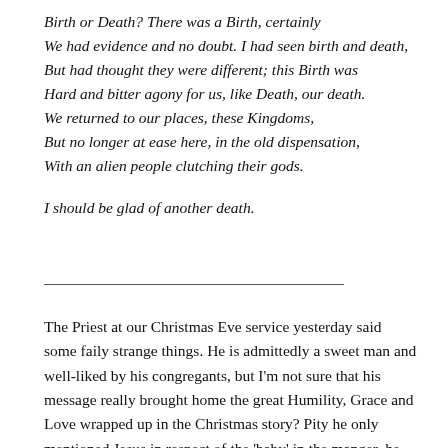Birth or Death? There was a Birth, certainly
We had evidence and no doubt. I had seen birth and death,
But had thought they were different; this Birth was
Hard and bitter agony for us, like Death, our death.
We returned to our places, these Kingdoms,
But no longer at ease here, in the old dispensation,
With an alien people clutching their gods.

I should be glad of another death.
The Priest at our Christmas Eve service yesterday said some faily strange things. He is admittedly a sweet man and well-liked by his congregants, but I'm not sure that his message really brought home the great Humility, Grace and Love wrapped up in the Christmas story? Pity he only mentioned Jesus in respect of the 'baby' in the manger, he managed to actually tell the story of Buddha, and went on quite a lot...